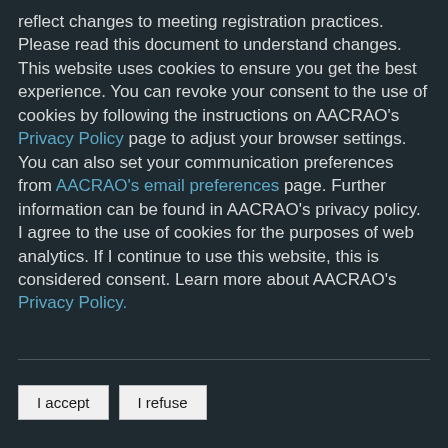reflect changes to meeting registration practices. Please read this document to understand changes. This website uses cookies to ensure you get the best experience. You can revoke your consent to the use of cookies by following the instructions on AACRAO's Privacy Policy page to adjust your browser settings. You can also set your communication preferences from AACRAO's email preferences page. Further information can be found in AACRAO's privacy policy. I agree to the use of cookies for the purposes of web analytics. If I continue to use this website, this is considered consent. Learn more about AACRAO's Privacy Policy.
I accept
I refuse